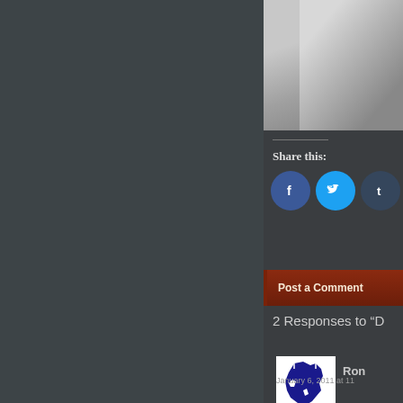[Figure (photo): Partial grayscale photo visible in upper right corner of the page]
Share this:
[Figure (infographic): Social share buttons: Facebook (blue circle), Twitter (light blue circle), Tumblr (dark circle), Pinterest (red circle)]
Post a Comment
2 Responses to “D
[Figure (illustration): Avatar image showing a blue and white map graphic (Kenya map silhouette)]
Ron
January 6, 2011 at 11